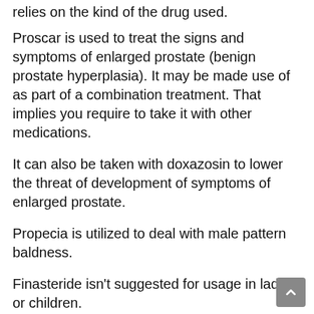relies on the kind of the drug used.
Proscar is used to treat the signs and symptoms of enlarged prostate (benign prostate hyperplasia). It may be made use of as part of a combination treatment. That implies you require to take it with other medications.
It can also be taken with doxazosin to lower the threat of development of symptoms of enlarged prostate.
Propecia is utilized to deal with male pattern baldness.
Finasteride isn't suggested for usage in ladies or children.
Exactly how it works.
Finasteride functions by decreasing the quantity of the hormonal agent dihydrotestosterone (DHT) in your body. DHT